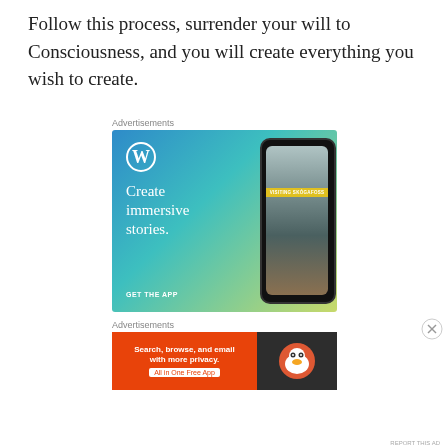Follow this process, surrender your will to Consciousness, and you will create everything you wish to create.
Advertisements
[Figure (illustration): WordPress advertisement showing 'Create immersive stories. GET THE APP' with a phone mockup displaying a waterfall travel story with banner 'VISITING SKOGAFOSS']
Advertisements
[Figure (illustration): DuckDuckGo advertisement: 'Search, browse, and email with more privacy. All in One Free App' with DuckDuckGo logo on dark background]